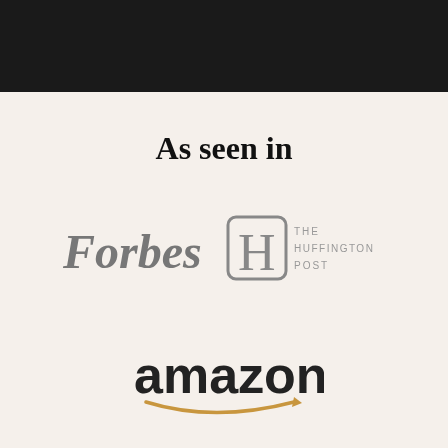[Figure (illustration): Dark black banner/bar at top of page]
As seen in
[Figure (logo): Forbes logo in gray serif text]
[Figure (logo): The Huffington Post logo with H in a rounded square]
[Figure (logo): Amazon logo in bold black text with smile arrow]